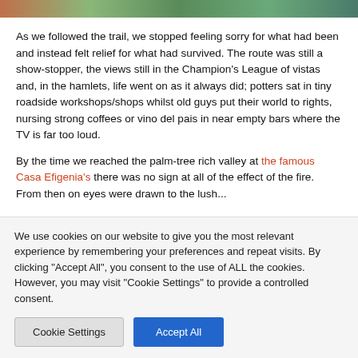[Figure (photo): Partial photo strip at top of page showing colorful outdoor scenery]
As we followed the trail, we stopped feeling sorry for what had been and instead felt relief for what had survived. The route was still a show-stopper, the views still in the Champion's League of vistas and, in the hamlets, life went on as it always did; potters sat in tiny roadside workshops/shops whilst old guys put their world to rights, nursing strong coffees or vino del pais in near empty bars where the TV is far too loud.
By the time we reached the palm-tree rich valley at the famous Casa Efigenia's there was no sign at all of the effect of the fire. From then on eyes were drawn to the lush...
We use cookies on our website to give you the most relevant experience by remembering your preferences and repeat visits. By clicking "Accept All", you consent to the use of ALL the cookies. However, you may visit "Cookie Settings" to provide a controlled consent.